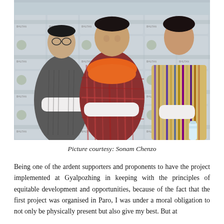[Figure (photo): Three men standing in front of a branded backdrop, wearing traditional Bhutanese clothing (gho). The man in the center is wearing a red plaid gho with an orange scarf around his neck. The man on the left has a dark grey gho with white sleeves crossed over his chest. The man on the right wears a multicolored striped gho and holds a water bottle.]
Picture courtesy: Sonam Chenzo
Being one of the ardent supporters and proponents to have the project implemented at Gyalpozhing in keeping with the principles of equitable development and opportunities, because of the fact that the first project was organised in Paro, I was under a moral obligation to not only be physically present but also give my best. But at